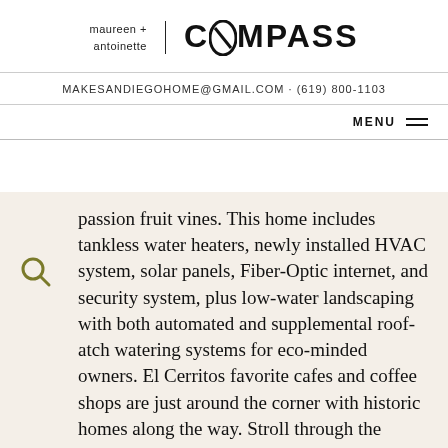[Figure (logo): maureen + antoinette | COMPASS real estate logo. Left side shows 'maureen +' and 'antoinette' in small sans-serif text, separated by a vertical bar from the large COMPASS wordmark on the right.]
MAKESANDIEGOHOME@GMAIL.COM · (619) 800-1103
MENU
passion fruit vines. This home includes tankless water heaters, newly installed HVAC system, solar panels, Fiber-Optic internet, and security system, plus low-water landscaping with both automated and supplemental roof-atch watering systems for eco-minded owners. El Cerritos favorite cafes and coffee shops are just around the corner with historic homes along the way. Stroll through the